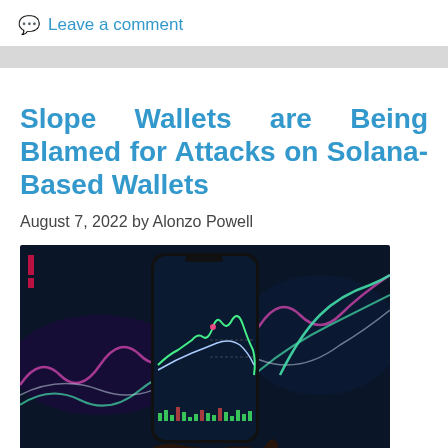💬 Leave a comment
Slope Wallets are Being Blamed for Attacks on Solana-Based Wallets
August 7, 2022 by Alonzo Powell
[Figure (photo): A hand holding a smartphone displaying a financial/crypto trading chart, with colorful line charts visible in the background on a dark blue background.]